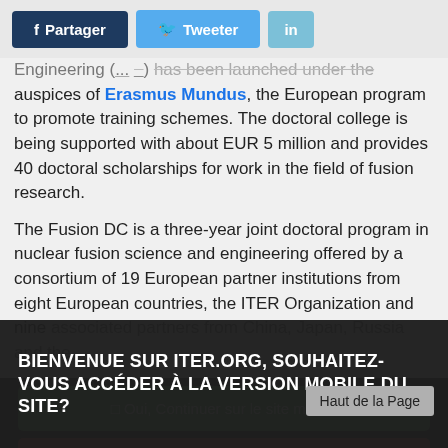[Figure (other): Social sharing buttons bar with Facebook (Partager), Twitter (Tweeter), and LinkedIn (in) buttons]
Engineering (...) has been launched under the auspices of Erasmus Mundus, the European program to promote training schemes. The doctoral college is being supported with about EUR 5 million and provides 40 doctoral scholarships for work in the field of fusion research.
The Fusion DC is a three-year joint doctoral program in nuclear fusion science and engineering offered by a consortium of 19 European partner institutions from eight European countries, the ITER Organization and nine associated partners from China, Japan, Russia and the
BIENVENUE SUR ITER.ORG, SOUHAITEZ-VOUS ACCÉDER À LA VERSION MOBILE DU SITE?
☐ Oui, Continuer sur le site mobile
🖥 Non, rester sur la version classique
Haut de la Page